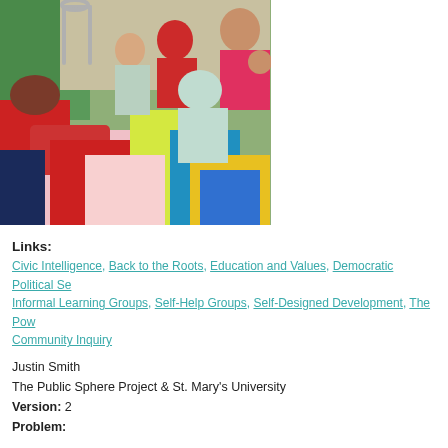[Figure (photo): A group of women in colorful traditional Indian/South Asian clothing and headscarves gathered together outdoors near a green wall.]
Links:
Civic Intelligence, Back to the Roots, Education and Values, Democratic Political Se... Informal Learning Groups, Self-Help Groups, Self-Designed Development, The Pow... Community Inquiry
Justin Smith
The Public Sphere Project & St. Mary's University
Version: 2
Problem:
Development professionals often find it difficult to adequately assess the broad spe... faces, as well as grasp and utilize the various assets the community has to work wi...